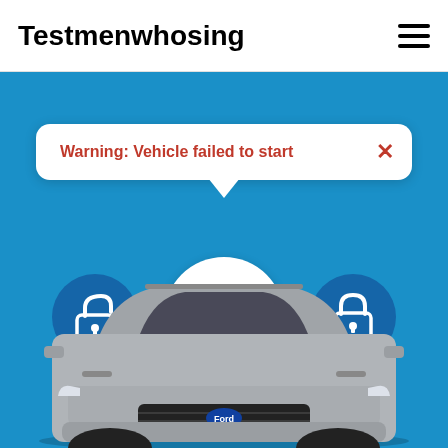Testmenwhosing
[Figure (screenshot): Vehicle remote start app interface showing a warning popup 'Warning: Vehicle failed to start', START ENGINE button in center, two lock/unlock buttons on sides, and a Ford SUV at the bottom]
Warning: Vehicle failed to start